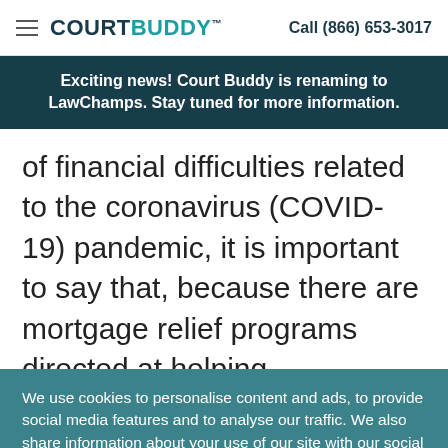COURTBUDDY™  Call (866) 653-3017
Exciting news! Court Buddy is renaming to LawChamps. Stay tuned for more information.
of financial difficulties related to the coronavirus (COVID-19) pandemic, it is important to say that, because there are mortgage relief programs directed at helping
We use cookies to personalise content and ads, to provide social media features and to analyse our traffic. We also share information about your use of our site with our social media, advertising and analytics partners who may combine it with other information that you've provided to them or that they've collected from your use of their services
Accept  Decline